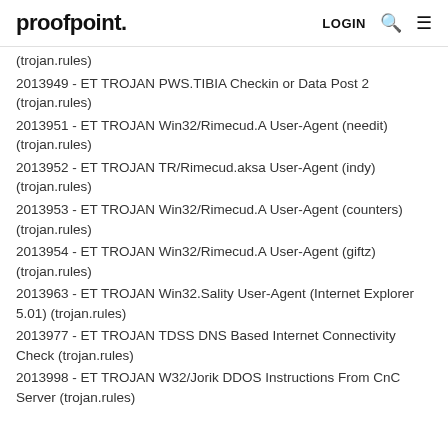proofpoint. LOGIN
(trojan.rules)
2013949 - ET TROJAN PWS.TIBIA Checkin or Data Post 2 (trojan.rules)
2013951 - ET TROJAN Win32/Rimecud.A User-Agent (needit) (trojan.rules)
2013952 - ET TROJAN TR/Rimecud.aksa User-Agent (indy) (trojan.rules)
2013953 - ET TROJAN Win32/Rimecud.A User-Agent (counters) (trojan.rules)
2013954 - ET TROJAN Win32/Rimecud.A User-Agent (giftz) (trojan.rules)
2013963 - ET TROJAN Win32.Sality User-Agent (Internet Explorer 5.01) (trojan.rules)
2013977 - ET TROJAN TDSS DNS Based Internet Connectivity Check (trojan.rules)
2013998 - ET TROJAN W32/Jorik DDOS Instructions From CnC Server (trojan.rules)